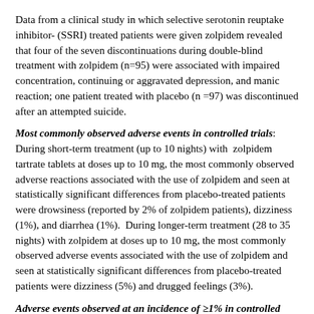Data from a clinical study in which selective serotonin reuptake inhibitor- (SSRI) treated patients were given zolpidem revealed that four of the seven discontinuations during double-blind treatment with zolpidem (n=95) were associated with impaired concentration, continuing or aggravated depression, and manic reaction; one patient treated with placebo (n =97) was discontinued after an attempted suicide.
Most commonly observed adverse events in controlled trials: During short-term treatment (up to 10 nights) with zolpidem tartrate tablets at doses up to 10 mg, the most commonly observed adverse reactions associated with the use of zolpidem and seen at statistically significant differences from placebo-treated patients were drowsiness (reported by 2% of zolpidem patients), dizziness (1%), and diarrhea (1%). During longer-term treatment (28 to 35 nights) with zolpidem at doses up to 10 mg, the most commonly observed adverse events associated with the use of zolpidem and seen at statistically significant differences from placebo-treated patients were dizziness (5%) and drugged feelings (3%).
Adverse events observed at an incidence of ≥1% in controlled trials: The following tables enumerate treatment-emergent adverse reactions frequencies that were observed at an incidence equal to 1% or greater among patients with insomnia who received zolpidem tartrate tablets and at a greater incidence than